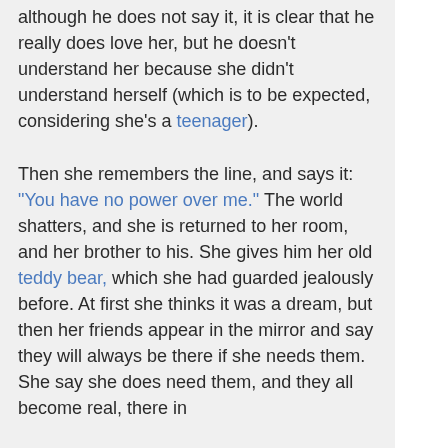although he does not say it, it is clear that he really does love her, but he doesn't understand her because she didn't understand herself (which is to be expected, considering she's a teenager). Then she remembers the line, and says it: "You have no power over me." The world shatters, and she is returned to her room, and her brother to his. She gives him her old teddy bear, which she had guarded jealously before. At first she thinks it was a dream, but then her friends appear in the mirror and say they will always be there if she needs them. She say she does need them, and they all become real, there in